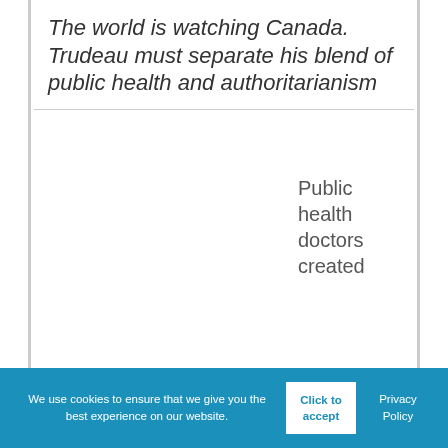The world is watching Canada. Trudeau must separate his blend of public health and authoritarianism
Public health doctors created
We use cookies to ensure that we give you the best experience on our website. Click to accept Privacy Policy